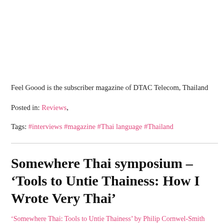Feel Goood is the subscriber magazine of DTAC Telecom, Thailand
Posted in: Reviews,
Tags: #interviews #magazine #Thai language #Thailand
Somewhere Thai symposium – ‘Tools to Untie Thainess: How I Wrote Very Thai’
‘Somewhere Thai: Tools to Untie Thainess’ by Philip Cornwel-Smith